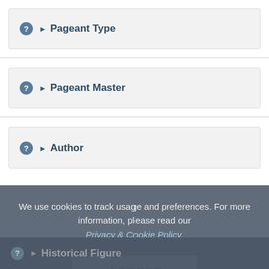❓ ▶ Pageant Type
❓ ▶ Pageant Master
❓ ▶ Author
We use cookies to track usage and preferences. For more information, please read our Privacy & Cookie Policy.
ACCEPT
❓ ▶ Historical Figure